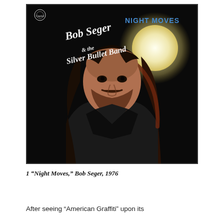[Figure (photo): Album cover of 'Night Moves' by Bob Seger & The Silver Bullet Band (1976). Dark background with a close-up of a man with long hair and beard, wearing a black leather jacket, looking upward. A bright glowing orb (moon) is visible in the upper right. Text on the cover reads 'Bob Seger & The Silver Bullet Band' in stylized white lettering and 'NIGHT MOVES' in blue text. Capitol Records logo in the upper left corner.]
1 “Night Moves,” Bob Seger, 1976
After seeing “American Graffiti” upon its